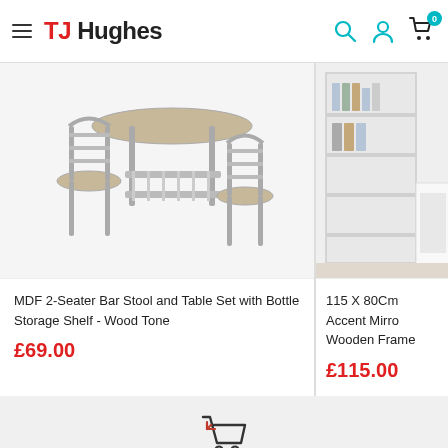TJ Hughes
[Figure (photo): MDF 2-Seater Bar Stool and Table Set with Bottle Storage Shelf - Wood Tone: metal-framed bar table with two chairs and shelf underneath]
MDF 2-Seater Bar Stool and Table Set with Bottle Storage Shelf - Wood Tone
£69.00
[Figure (photo): 115 X 80Cm Accent Mirror with Wooden Frame: white bookcase/shelving unit in a room]
115 X 80Cm Accent Mirro... Wooden Frame
£115.00
[Figure (illustration): Shopping cart with return/back arrow icon]